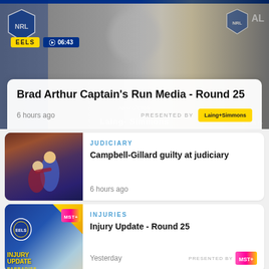[Figure (photo): Featured video card with a man in sports attire, EELS tag, 06:43 duration, white overlay card with title and sponsor]
Brad Arthur Captain's Run Media - Round 25
6 hours ago
PRESENTED BY Laing+Simmons
[Figure (photo): Rugby league tackle action photo with players in blue and gold vs maroon]
JUDICIARY
Campbell-Gillard guilty at judiciary
6 hours ago
[Figure (photo): Injury Update Round 25 graphic with Parramatta Eels branding and MST logo on blue/gold background]
INJURIES
Injury Update - Round 25
Yesterday
PRESENTED BY MST+